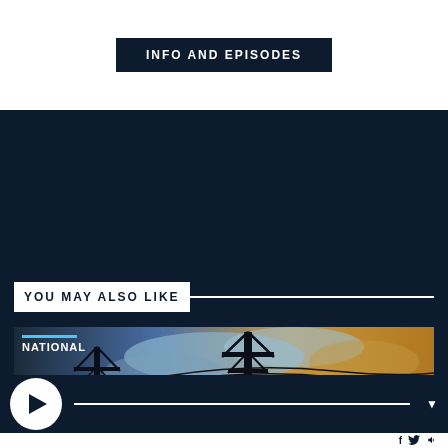INFO AND EPISODES
YOU MAY ALSO LIKE
[Figure (photo): Power transmission tower silhouetted against a dramatic sky with clouds. Text overlay reads NATIONAL at top left. Partial title text visible at bottom: Electricity Wh...]
[Figure (screenshot): Media player bar with white circular play button, horizontal progress line, and dropdown arrow on dark navy background.]
[Figure (screenshot): Bottom bar with social media icons: Facebook (f), Twitter bird, and audio/speaker icon on white background.]